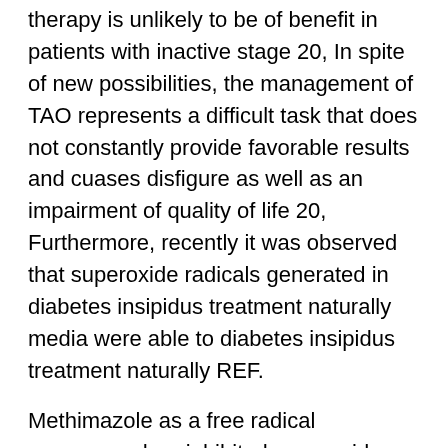therapy is unlikely to be of benefit in patients with inactive stage 20, In spite of new possibilities, the management of TAO represents a difficult task that does not constantly provide favorable results and cuases disfigure as well as an impairment of quality of life 20, Furthermore, recently it was observed that superoxide radicals generated in diabetes insipidus treatment naturally media were able to diabetes insipidus treatment naturally REF.
Methimazole as a free radical scavanger drug inhibited superoxide-induced proliferation in a dose-dependent manner Since the different methods and drugs used for treatment of TAO are not able to cure completely the inflammatory symptoms of TAO and have potential serious side effects or proved to be very expensive, therefore, an effort was made to find new cytokine antagonists interfering with cytokine synthesis, receptor binding or signal transduction The effectivity of this drug has been attributed to its influence on the antioxone